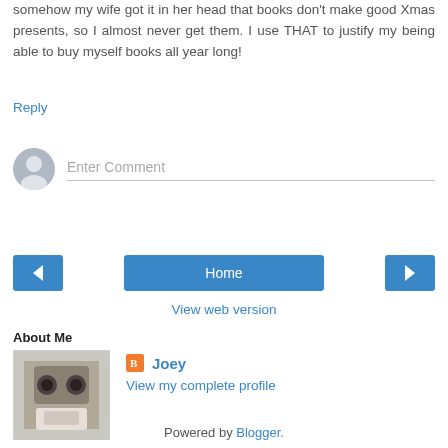somehow my wife got it in her head that books don't make good Xmas presents, so I almost never get them. I use THAT to justify my being able to buy myself books all year long!
Reply
[Figure (other): Comment input box with avatar placeholder and 'Enter Comment' placeholder text]
[Figure (other): Navigation buttons: left arrow, Home, right arrow]
View web version
About Me
[Figure (photo): Profile photo of Joey showing a person holding a camera-like object in front of their face]
Joey
View my complete profile
Powered by Blogger.